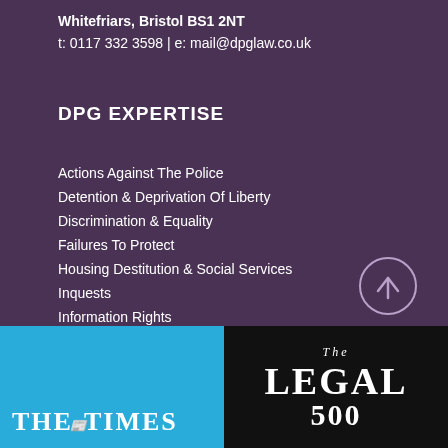Whitefriars, Bristol BS1 2NT
t: 0117 332 3598 | e: mail@dpglaw.co.uk
DPG EXPERTISE
Actions Against The Police
Detention & Deprivation Of Liberty
Discrimination & Equality
Failures To Protect
Housing Destitution & Social Services
Inquests
Information Rights
Judicial Review & Public Law
International Law / Corp. Accountability
[Figure (illustration): Circular scroll-to-top button with upward arrow]
[Figure (logo): The Times newspaper logo on cyan/blue background]
[Figure (logo): The Legal 500 logo on black background]